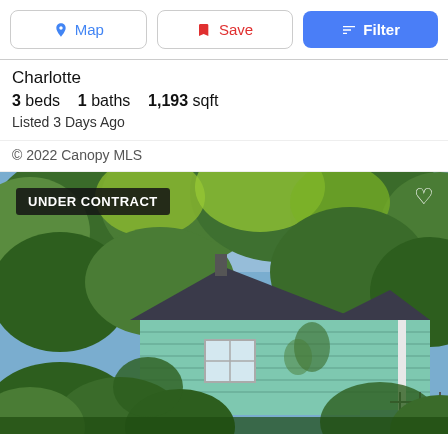Map | Save | Filter
Charlotte
3 beds   1 baths   1,193 sqft
Listed 3 Days Ago
© 2022 Canopy MLS
[Figure (photo): Exterior photo of a small mint/teal green house with dark roof, surrounded by lush green trees and vegetation. Has a white window. Badge shows UNDER CONTRACT in upper left, white heart icon in upper right.]